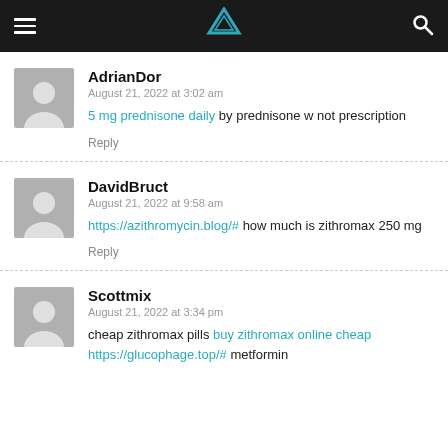Navigation header with hamburger menu, logo, and search icon
AdrianDor
August 21, 2022 at 3:02 am
5 mg prednisone daily by prednisone w not prescription
Reply
DavidBruct
August 21, 2022 at 9:58 am
https://azithromycin.blog/# how much is zithromax 250 mg
Reply
Scottmix
August 21, 2022 at 3:34 pm
cheap zithromax pills buy zithromax online cheap https://glucophage.top/# metformin